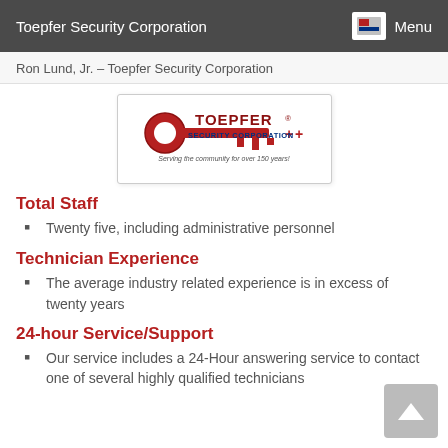Toepfer Security Corporation  Menu
Ron Lund, Jr. – Toepfer Security Corporation
[Figure (logo): Toepfer Security Corporation logo — red key graphic with 'TOEPFER' in dark red and 'SECURITY CORPORATION' in blue, tagline 'Serving the community for over 150 years!']
Total Staff
Twenty five, including administrative personnel
Technician Experience
The average industry related experience is in excess of twenty years
24-hour Service/Support
Our service includes a 24-Hour answering service to contact one of several highly qualified technicians